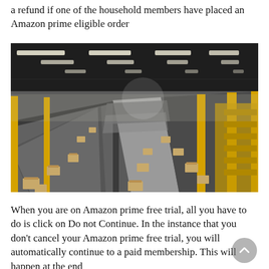a refund if one of the household members have placed an Amazon prime eligible order
[Figure (photo): Interior of a large Amazon fulfillment warehouse showing conveyor belts with cardboard packages, yellow structural columns, and receding perspective toward the far end of the facility.]
When you are on Amazon prime free trial, all you have to do is click on Do not Continue. In the instance that you don't cancel your Amazon prime free trial, you will automatically continue to a paid membership. This will happen at the end